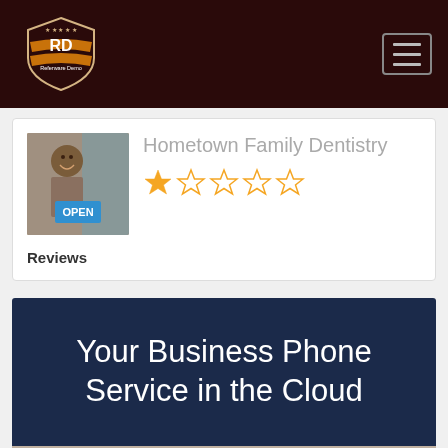[Figure (logo): RD Referware Demo shield logo in orange and white on dark brown background, with hamburger menu icon in top right]
Hometown Family Dentistry
[Figure (photo): Photo of a smiling man holding an OPEN sign]
★☆☆☆☆ (1 star out of 5)
Reviews
Your Business Phone Service in the Cloud
[Figure (photo): Blurred background photo of a phone on a desk]